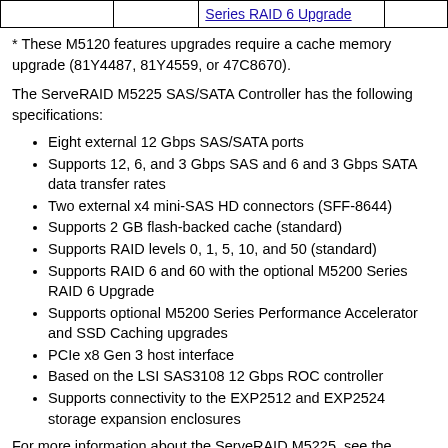|  |  | Series RAID 6 Upgrade |  |
| --- | --- | --- | --- |
|  |  | Series RAID 6 Upgrade |  |
* These M5120 features upgrades require a cache memory upgrade (81Y4487, 81Y4559, or 47C8670).
The ServeRAID M5225 SAS/SATA Controller has the following specifications:
Eight external 12 Gbps SAS/SATA ports
Supports 12, 6, and 3 Gbps SAS and 6 and 3 Gbps SATA data transfer rates
Two external x4 mini-SAS HD connectors (SFF-8644)
Supports 2 GB flash-backed cache (standard)
Supports RAID levels 0, 1, 5, 10, and 50 (standard)
Supports RAID 6 and 60 with the optional M5200 Series RAID 6 Upgrade
Supports optional M5200 Series Performance Accelerator and SSD Caching upgrades
PCIe x8 Gen 3 host interface
Based on the LSI SAS3108 12 Gbps ROC controller
Supports connectivity to the EXP2512 and EXP2524 storage expansion enclosures
For more information about the ServeRAID M5225, see the Lenovo Press Product Guide at